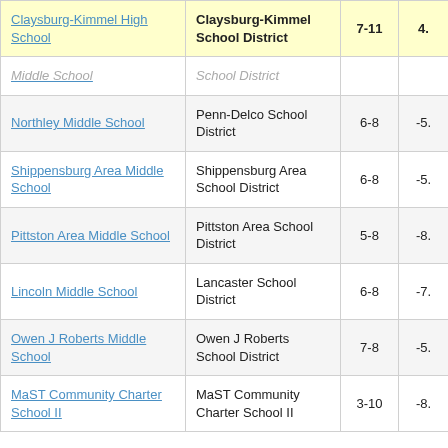| School | District | Grades | Score |
| --- | --- | --- | --- |
| Claysburg-Kimmel High School | Claysburg-Kimmel School District | 7-11 | 4. |
| Middle School | School District |  |  |
| Northley Middle School | Penn-Delco School District | 6-8 | -5. |
| Shippensburg Area Middle School | Shippensburg Area School District | 6-8 | -5. |
| Pittston Area Middle School | Pittston Area School District | 5-8 | -8. |
| Lincoln Middle School | Lancaster School District | 6-8 | -7. |
| Owen J Roberts Middle School | Owen J Roberts School District | 7-8 | -5. |
| MaST Community Charter School II | MaST Community Charter School II | 3-10 | -8. |